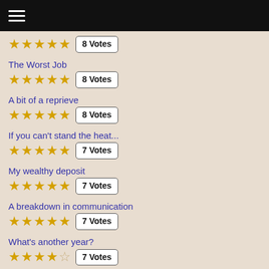≡
★★★★★ 8 Votes (partial, cut off at top)
The Worst Job — ★★★★★ 8 Votes
A bit of a reprieve — ★★★★★ 8 Votes
If you can't stand the heat... — ★★★★★ 7 Votes
My wealthy deposit — ★★★★★ 7 Votes
A breakdown in communication — ★★★★★ 7 Votes
What's another year? — ★★★★☆ 7 Votes
Starvation once again — ★★★★☆ 7 Votes
The neighbour from hell (partial, cut off at bottom)